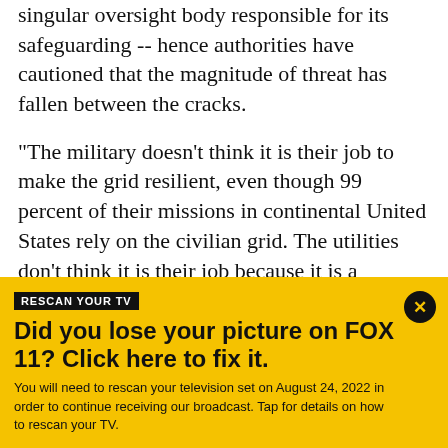singular oversight body responsible for its safeguarding -- hence authorities have cautioned that the magnitude of threat has fallen between the cracks.
"The military doesn't think it is their job to make the grid resilient, even though 99 percent of their missions in continental United States rely on the civilian grid. The utilities don't think it is their job because it is a national security problem. Besides, they don't want to come up with the money, face more regulatory burdens or fool with making over parts of the grid with uncertain technical consequences," lamented Frank
[Figure (screenshot): Yellow banner advertisement/notification for FOX 11 TV channel. Contains a black label 'RESCAN YOUR TV', bold headline 'Did you lose your picture on FOX 11? Click here to fix it.' and body text 'You will need to rescan your television set on August 24, 2022 in order to continue receiving our broadcast. Tap for details on how to rescan your TV.' A close button (X) appears in the top right corner.]